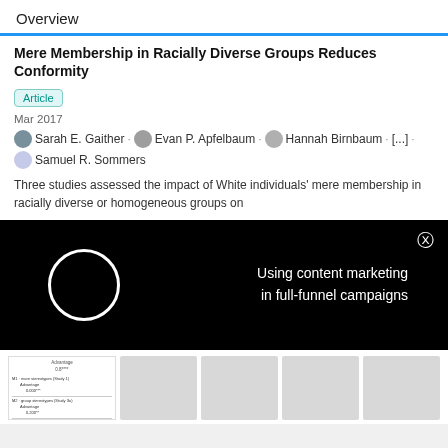Overview
Mere Membership in Racially Diverse Groups Reduces Conformity
Article
Mar 2017
Sarah E. Gaither · Evan P. Apfelbaum · Hannah Birnbaum · [...] · Samuel R. Sommers
Three studies assessed the impact of White individuals' mere membership in racially diverse or homogeneous groups on
[Figure (other): Black advertisement overlay with a white circle spinner on the left and text 'Using content marketing in full-funnel campaigns' on the right, with a close button (X) in the top-right corner.]
[Figure (table-as-image): Small thumbnail image of a table with statistical data rows.]
[Figure (other): Gray placeholder thumbnail.]
[Figure (other): Gray placeholder thumbnail.]
[Figure (other): Gray placeholder thumbnail.]
[Figure (other): Gray placeholder thumbnail.]